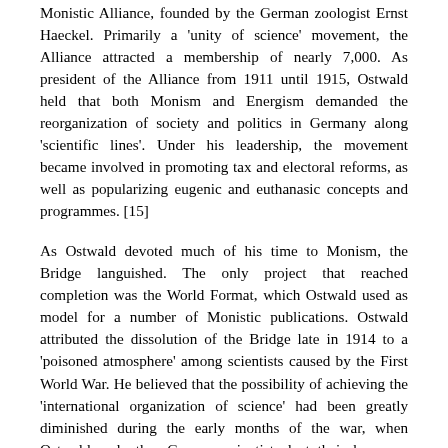Monistic Alliance, founded by the German zoologist Ernst Haeckel. Primarily a 'unity of science' movement, the Alliance attracted a membership of nearly 7,000. As president of the Alliance from 1911 until 1915, Ostwald held that both Monism and Energism demanded the reorganization of society and politics in Germany along 'scientific lines'. Under his leadership, the movement became involved in promoting tax and electoral reforms, as well as popularizing eugenic and euthanasic concepts and programmes. [15]
As Ostwald devoted much of his time to Monism, the Bridge languished. The only project that reached completion was the World Format, which Ostwald used as model for a number of Monistic publications. Ostwald attributed the dissolution of the Bridge late in 1914 to a 'poisoned atmosphere' among scientists caused by the First World War. He believed that the possibility of achieving the 'international organization of science' had been greatly diminished during the early months of the war, when Ostwald and other German scientists lost their honorary memberships in the scientific societies of 'enemy' countries. While offering somewhat ambiguous support for the German war effort, Ostwald also declared that war itself was a 'denial' of the principle of organization.' [16] Following the war, and until his death